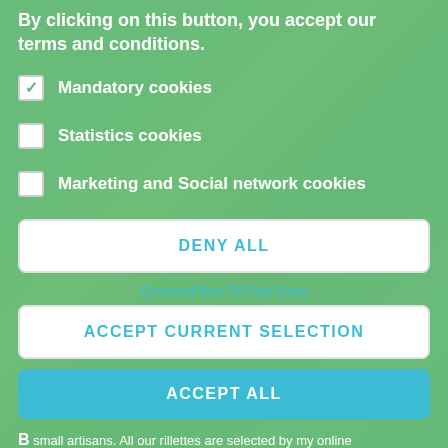By clicking on this button, you accept our terms and conditions.
✓ Mandatory cookies
☐ Statistics cookies
☐ Marketing and Social network cookies
DENY ALL
Gourmet Box Of Foie Gras
ACCEPT CURRENT SELECTION
ACCEPT ALL
B… small artisans. All our rillettes are selected by my online delicatessen.